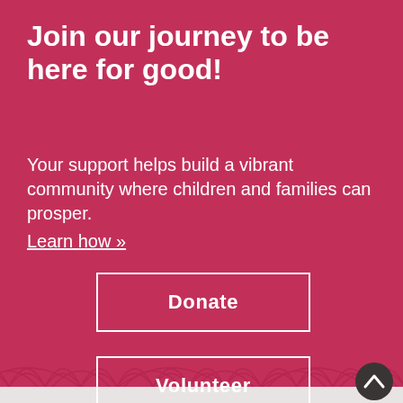Join our journey to be here for good!
Your support helps build a vibrant community where children and families can prosper. Learn how »
Donate
Volunteer
[Figure (illustration): Decorative arch/fan pattern strip at bottom with deeper pink color, with a back-to-top arrow button in dark circle]